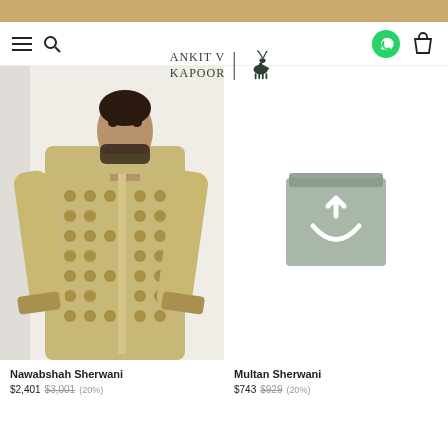ANKIT V KAPOOR — Navigation header with menu, search, logo, WhatsApp, and bag icons
[Figure (photo): Man wearing a gold/beige patterned Nawabshah Sherwani with intricate embroidery, posed against a light background]
Nawabshah Sherwani
$2,401 $3,001 (20%)
[Figure (photo): Placeholder shopping bag icon in grey on white background for Multan Sherwani product]
Multan Sherwani
$743 $929 (20%)